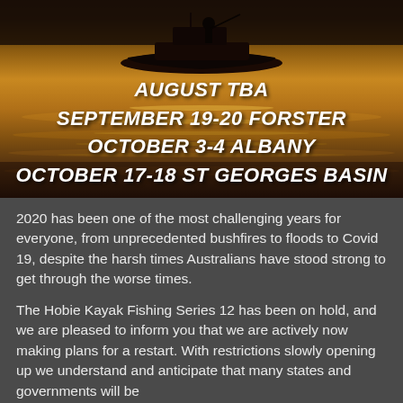[Figure (photo): Silhouette of a fishing boat on golden water at sunset, with overlaid event schedule text]
2020 has been one of the most challenging years for everyone, from unprecedented bushfires to floods to Covid 19, despite the harsh times Australians have stood strong to get through the worse times.
The Hobie Kayak Fishing Series 12 has been on hold, and we are pleased to inform you that we are actively now making plans for a restart. With restrictions slowly opening up we understand and anticipate that many states and governments will be